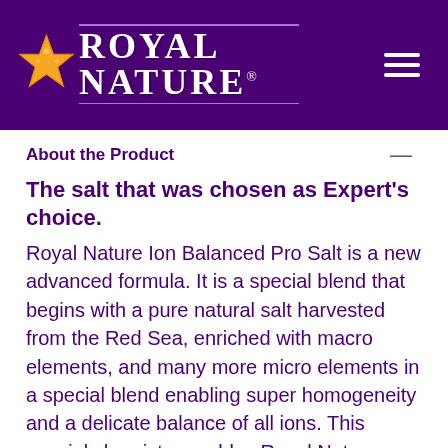[Figure (logo): Royal Nature logo with orange starfish above text on dark purple header bar with hamburger menu icon]
About the Product
The salt that was chosen as Expert's choice.
Royal Nature Ion Balanced Pro Salt is a new advanced formula. It is a special blend that begins with a pure natural salt harvested from the Red Sea, enriched with macro elements, and many more micro elements in a special blend enabling super homogeneity and a delicate balance of all ions. This special chemistry enables Royal Nature